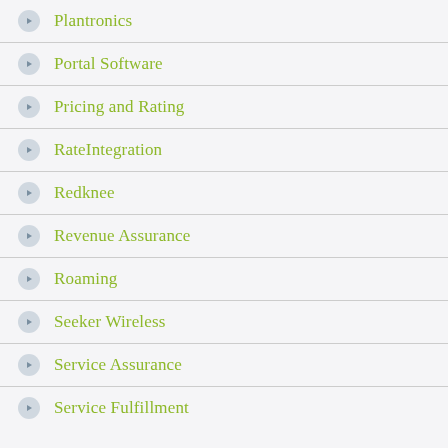Plantronics
Portal Software
Pricing and Rating
RateIntegration
Redknee
Revenue Assurance
Roaming
Seeker Wireless
Service Assurance
Service Fulfillment